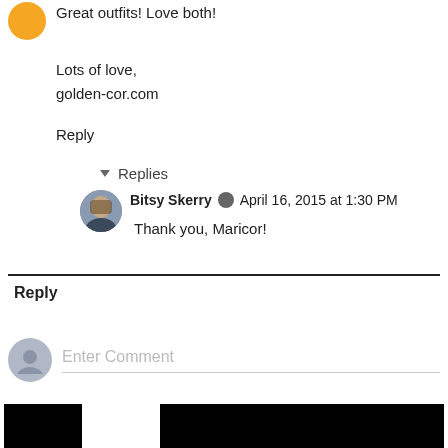Great outfits! Love both!
Lots of love,
golden-cor.com
Reply
Replies
Bitsy Skerry  April 16, 2015 at 1:30 PM
Thank you, Maricor!
Reply
Enter Comment